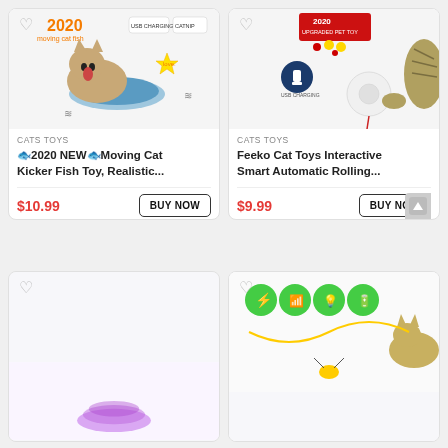[Figure (screenshot): Product listing page showing cat toys in a 2-column grid layout with product images, category labels, titles, prices, and Buy Now buttons]
CATS TOYS
🐟2020 NEW🐟Moving Cat Kicker Fish Toy, Realistic...
$10.99
BUY NOW
CATS TOYS
Feeko Cat Toys Interactive Smart Automatic Rolling...
$9.99
BUY NOW